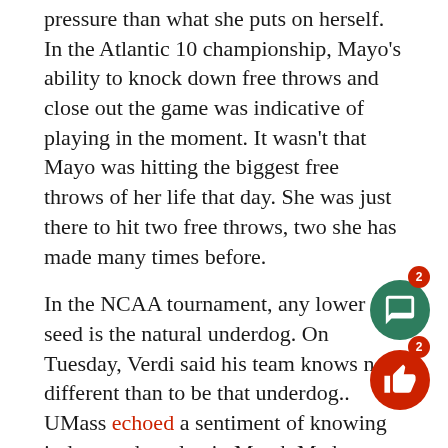pressure than what she puts on herself. In the Atlantic 10 championship, Mayo's ability to knock down free throws and close out the game was indicative of playing in the moment. It wasn't that Mayo was hitting the biggest free throws of her life that day. She was just there to hit two free throws, two she has made many times before.
In the NCAA tournament, any lower seed is the natural underdog. On Tuesday, Verdi said his team knows no different than to be that underdog.. UMass echoed a sentiment of knowing it deserved to play in March Madness. The game against Notre Dame was to prove why, but more importantly become a checkpoint along the way of this evolving program transformation under head coach Tory Verdi's orchestration.
“This year we were good,” Verdi said. “There’s no question about that. We did some amazing things. But you want to take that next step, you need to be different